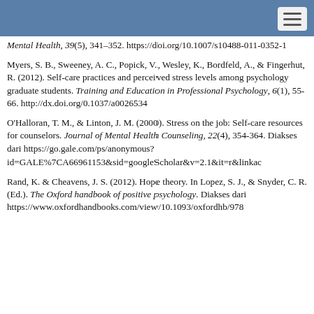Mental Health, 39(5), 341–352. https://doi.org/10.1007/s10488-011-0352-1
Myers, S. B., Sweeney, A. C., Popick, V., Wesley, K., Bordfeld, A., & Fingerhut, R. (2012). Self-care practices and perceived stress levels among psychology graduate students. Training and Education in Professional Psychology, 6(1), 55-66. http://dx.doi.org/0.1037/a0026534
O'Halloran, T. M., & Linton, J. M. (2000). Stress on the job: Self-care resources for counselors. Journal of Mental Health Counseling, 22(4), 354-364. Diakses dari https://go.gale.com/ps/anonymous?id=GALE%7CA66961153&sid=googleScholar&v=2.1&it=r&linkac
Rand, K. & Cheavens, J. S. (2012). Hope theory. In Lopez, S. J., & Snyder, C. R. (Ed.). The Oxford handbook of positive psychology. Diakses dari https://www.oxfordhandbooks.com/view/10.1093/oxfordhb/978